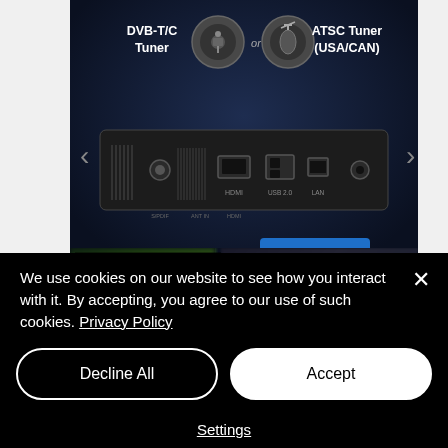[Figure (photo): Product page screenshot showing rear panel of a DVB-T/C and ATSC Tuner (USA/CAN) set-top box device with various ports including HDMI, USB, LAN, and coaxial connectors. Labels point to DVB-T/C Tuner and ATSC Tuner (USA/CAN) with connector icons. Below are blurred thumbnail images of related products.]
We use cookies on our website to see how you interact with it. By accepting, you agree to our use of such cookies. Privacy Policy
Decline All
Accept
Settings